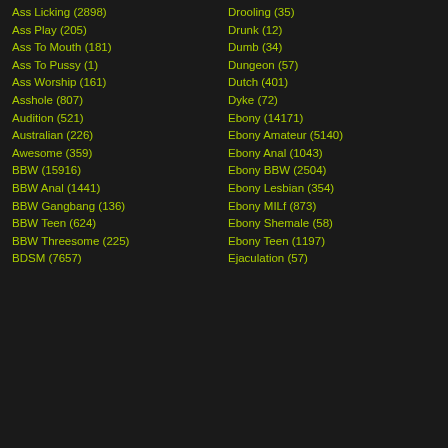Ass Licking (2898)
Ass Play (205)
Ass To Mouth (181)
Ass To Pussy (1)
Ass Worship (161)
Asshole (807)
Audition (521)
Australian (226)
Awesome (359)
BBW (15916)
BBW Anal (1441)
BBW Gangbang (136)
BBW Teen (624)
BBW Threesome (225)
BDSM (7657)
Drooling (35)
Drunk (12)
Dumb (34)
Dungeon (57)
Dutch (401)
Dyke (72)
Ebony (14171)
Ebony Amateur (5140)
Ebony Anal (1043)
Ebony BBW (2504)
Ebony Lesbian (354)
Ebony MILf (873)
Ebony Shemale (58)
Ebony Teen (1197)
Ejaculation (57)